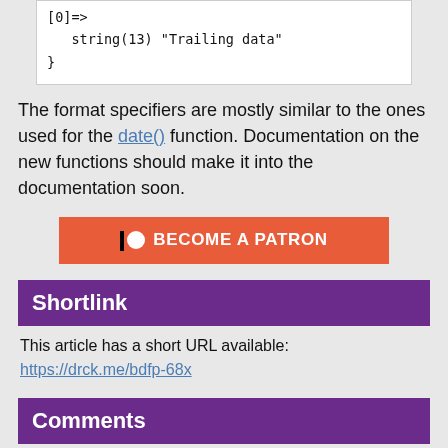[Figure (screenshot): Code block showing: [0]=> string(13) "Trailing data" }]
The format specifiers are mostly similar to the ones used for the date() function. Documentation on the new functions should make it into the documentation soon.
[Figure (other): Become a Patron button (orange/red background with Patreon icon)]
Shortlink
This article has a short URL available:
https://drck.me/bdfp-68x
Comments
Evert
Sunday, March 2nd 2008, 20:17 UTC